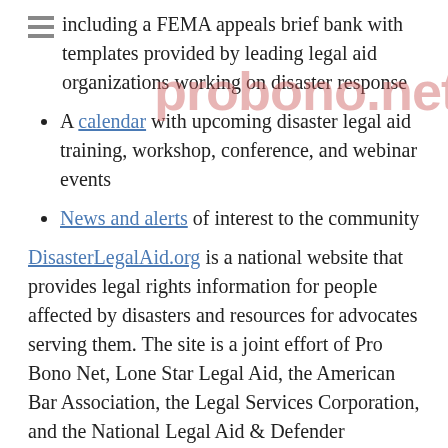including a FEMA appeals brief bank with templates provided by leading legal aid organizations working on disaster response
A calendar with upcoming disaster legal aid training, workshop, conference, and webinar events
News and alerts of interest to the community
DisasterLegalAid.org is a national website that provides legal rights information for people affected by disasters and resources for advocates serving them. The site is a joint effort of Pro Bono Net, Lone Star Legal Aid, the American Bar Association, the Legal Services Corporation, and the National Legal Aid & Defender Association.
We are making a call to all those who can volunteer